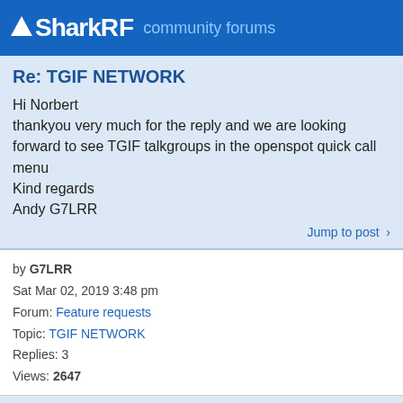SharkRF community forums
Re: TGIF NETWORK
Hi Norbert
thankyou very much for the reply and we are looking forward to see TGIF talkgroups in the openspot quick call menu
Kind regards
Andy G7LRR
Jump to post >
by G7LRR
Sat Mar 02, 2019 3:48 pm
Forum: Feature requests
Topic: TGIF NETWORK
Replies: 3
Views: 2647
TGIF NETWORK
Hi there would it be possiable to also add the 105 talkgroups to the quick call menu on the openspot 2 , what would you need from the TGIF admins in form of a json link as below to pull the talkgroups from in real time to make this happen on